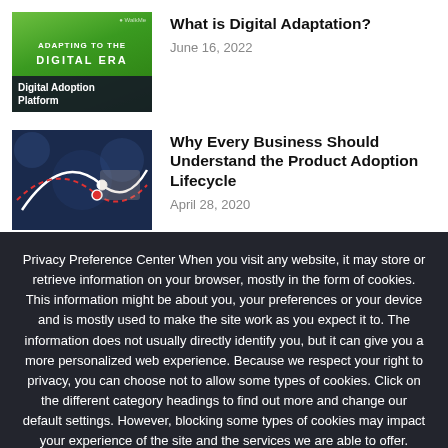What is Digital Adaptation?
June 16, 2022
Why Every Business Should Understand the Product Adoption Lifecycle
April 28, 2020
Privacy Preference Center When you visit any website, it may store or retrieve information on your browser, mostly in the form of cookies. This information might be about you, your preferences or your device and is mostly used to make the site work as you expect it to. The information does not usually directly identify you, but it can give you a more personalized web experience. Because we respect your right to privacy, you can choose not to allow some types of cookies. Click on the different category headings to find out more and change our default settings. However, blocking some types of cookies may impact your experience of the site and the services we are able to offer.
Ok   Privacy policy